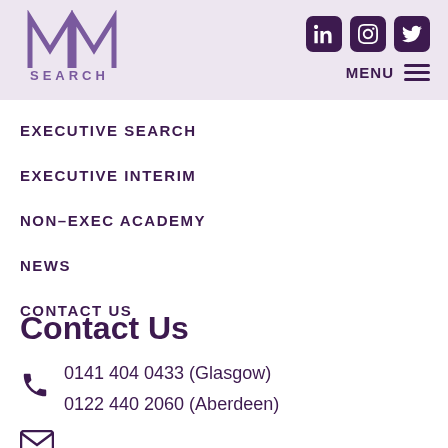[Figure (logo): MM Search logo with stylized double-M lettermark and 'SEARCH' text below]
[Figure (other): Social media icons for LinkedIn, Instagram, and Twitter in dark purple rounded squares, plus MENU hamburger icon]
EXECUTIVE SEARCH
EXECUTIVE INTERIM
NON–EXEC ACADEMY
NEWS
CONTACT US
Contact Us
0141 404 0433 (Glasgow)
0122 440 2060 (Aberdeen)